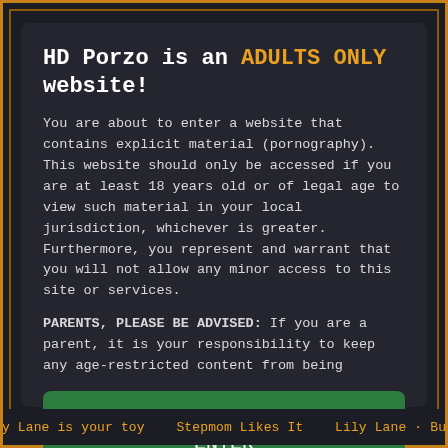HD Porzo is an ADULTS ONLY website!
You are about to enter a website that contains explicit material (pornography). This website should only be accessed if you are at least 18 years old or of legal age to view such material in your local jurisdiction, whichever is greater. Furthermore, you represent and warrant that you will not allow any minor access to this site or services.
PARENTS, PLEASE BE ADVISED: If you are a parent, it is your responsibility to keep any age-restricted content from being
I am 18+
ENTER
When accessing this site you agree to our terms of use.
Lily Lane is your toy   Stepmom Likes It   Lily Lane · Buxom